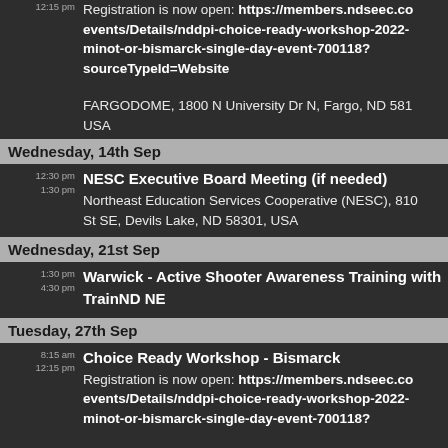12:15 pm
Registration is now open: https://members.ndseec.com/events/Details/nddpi-choice-ready-workshop-2022-minot-or-bismarck-single-day-event-700118?sourceTypeId=Website
FARGODOME, 1800 N University Dr N, Fargo, ND 581 USA
Wednesday, 14th Sep
12:30 pm
1:30 pm
NESC Executive Board Meeting (if needed)
Northeast Education Services Cooperative (NESC), 810 St SE, Devils Lake, ND 58301, USA
Wednesday, 21st Sep
1:30 pm
4:30 pm
Warwick - Active Shooter Awareness Training with TrainND NE
Tuesday, 27th Sep
8:15 am
12:15 pm
Choice Ready Workshop - Bismarck
Registration is now open: https://members.ndseec.com/events/Details/nddpi-choice-ready-workshop-2022-minot-or-bismarck-single-day-event-700118?